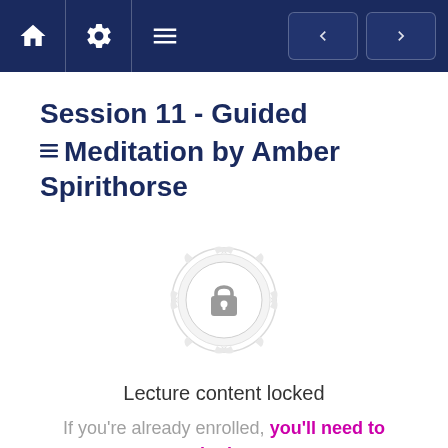Navigation bar with home, settings, menu icons and back/forward arrows
Session 11 - Guided Meditation by Amber Spirithorse
[Figure (illustration): Decorative lock icon inside a circular ornamental badge, grey tones]
Lecture content locked
If you're already enrolled, you'll need to login.